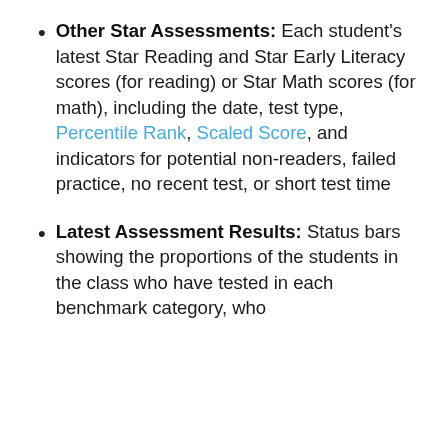Other Star Assessments: Each student's latest Star Reading and Star Early Literacy scores (for reading) or Star Math scores (for math), including the date, test type, Percentile Rank, Scaled Score, and indicators for potential non-readers, failed practice, no recent test, or short test time
Latest Assessment Results: Status bars showing the proportions of the students in the class who have tested in each benchmark category, who